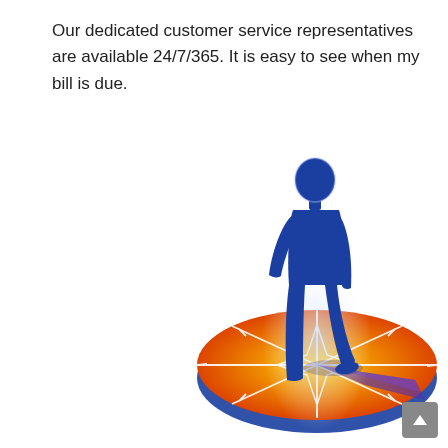Our dedicated customer service representatives are available 24/7/365. It is easy to see when my bill is due.
[Figure (illustration): A blue human silhouette standing on an orange compass rose disc. The compass disc has a gradient from orange to red-orange with white compass star lines. A shadow extends from the figure. The scene represents guidance and customer-centered navigation.]